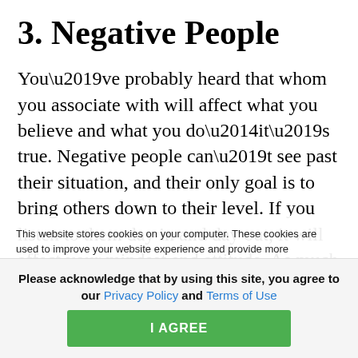3. Negative People
You’ve probably heard that whom you associate with will affect what you believe and what you do—it’s true. Negative people can’t see past their situation, and their only goal is to bring others down to their level. If you listen to them day in and day out, it will affect your mindset and attitude. As much as it hurts,
This website stores cookies on your computer. These cookies are used to improve your website experience and provide more personalized services to you, both on this website and through other media. To find out more about the cookies we use, see our Privacy Policy.
We won’t track your information when you visit our site. But in order to comply with your
Please acknowledge that by using this site, you agree to our Privacy Policy and Terms of Use
I AGREE